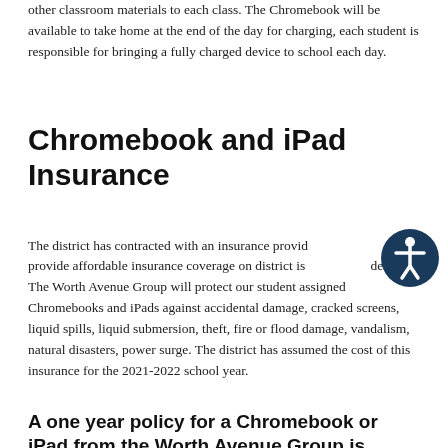other classroom materials to each class. The Chromebook will be available to take home at the end of the day for charging, each student is responsible for bringing a fully charged device to school each day.
Chromebook and iPad Insurance
The district has contracted with an insurance provider to provide affordable insurance coverage on district issued devices. The Worth Avenue Group will protect our student assigned Chromebooks and iPads against accidental damage, cracked screens, liquid spills, liquid submersion, theft, fire or flood damage, vandalism, natural disasters, power surge. The district has assumed the cost of this insurance for the 2021-2022 school year.
A one year policy for a Chromebook or iPad from the Worth Avenue Group is between a few...